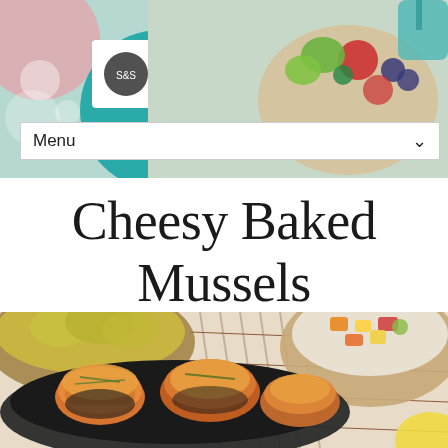[Figure (photo): Website header with food photography showing fruit bowl and colorful dishes, teal/green circular shape, pink circle, white logo box, on bokeh background]
Menu
Cheesy Baked Mussels
BY SWEETNSPICYLIVING ON AUGUST 11, 2018 • { 5 COMMENTS }
[Figure (photo): Close-up photo of cheesy baked mussels in a dark pan, with bowls of yellow grain and chopped fruit salad visible in the background on a striped placemat]